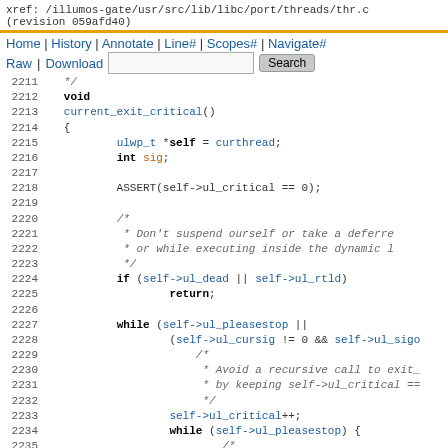xref: /illumos-gate/usr/src/lib/libc/port/threads/thr.c
(revision 059afd40)
Home | History | Annotate | Line# | Scopes# | Navigate#
Raw | Download   [Search]
[Figure (screenshot): Source code viewer showing C code for function current_exit_critical(), lines 2211-2235, with syntax highlighting. Keywords in bold black, identifiers in blue, variables in orange/brown, comments in grey.]